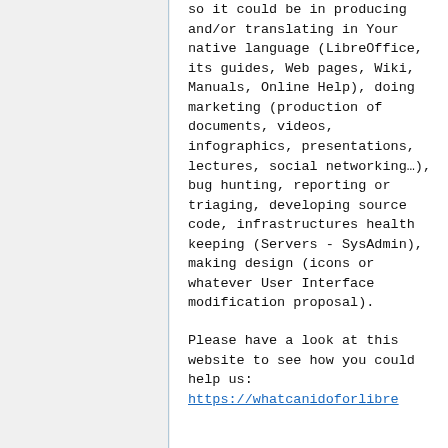so it could be in producing and/or translating in Your native language (LibreOffice, its guides, Web pages, Wiki, Manuals, Online Help), doing marketing (production of documents, videos, infographics, presentations, lectures, social networking…), bug hunting, reporting or triaging, developing source code, infrastructures health keeping (Servers - SysAdmin), making design (icons or whatever User Interface modification proposal).
Please have a look at this website to see how you could help us: https://whatcanidoforlibre